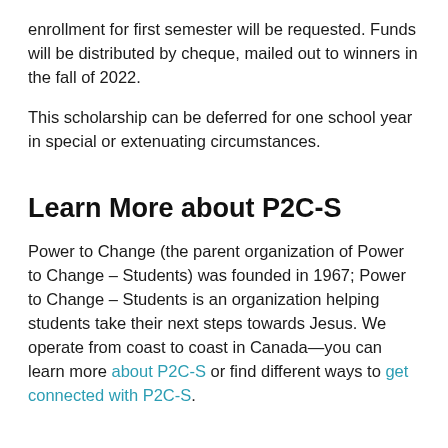enrollment for first semester will be requested. Funds will be distributed by cheque, mailed out to winners in the fall of 2022.
This scholarship can be deferred for one school year in special or extenuating circumstances.
Learn More about P2C-S
Power to Change (the parent organization of Power to Change – Students) was founded in 1967; Power to Change – Students is an organization helping students take their next steps towards Jesus. We operate from coast to coast in Canada—you can learn more about P2C-S or find different ways to get connected with P2C-S.